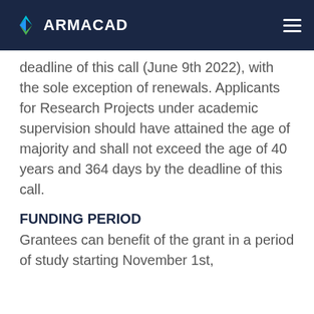ARMACAD
deadline of this call (June 9th 2022), with the sole exception of renewals. Applicants for Research Projects under academic supervision should have attained the age of majority and shall not exceed the age of 40 years and 364 days by the deadline of this call.
FUNDING PERIOD
Grantees can benefit of the grant in a period of study starting November 1st,